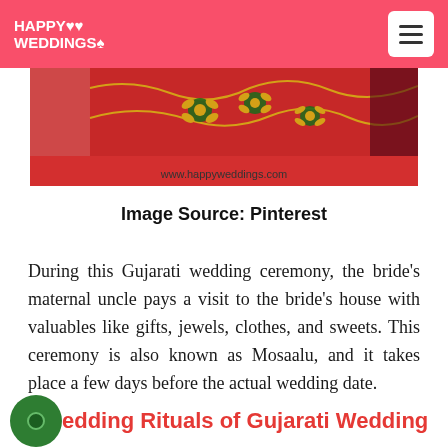HAPPY WEDDINGS
[Figure (photo): Red floral embroidered fabric banner image with gold and green flower embroidery details, dark red background, bottom text reads www.happyweddings.com]
Image Source: Pinterest
During this Gujarati wedding ceremony, the bride's maternal uncle pays a visit to the bride's house with valuables like gifts, jewels, clothes, and sweets. This ceremony is also known as Mosaalu, and it takes place a few days before the actual wedding date.
edding Rituals of Gujarati Wedding